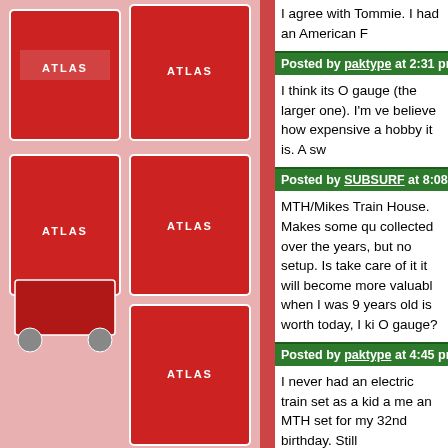[Figure (photo): Sidebar with red Atlas train set boxes/packaging displayed against a pink/red background, partially visible on the left side of the page.]
I agree with Tommie. I had an American F
Posted by paktype at 2:31 pm (PDT) on Mon March 19
I think its O gauge (the larger one). I'm ve believe how expensive a hobby it is. A sw
Posted by SUBSURF at 8:08 pm (PDT) on Fri June 24,
MTH/Mikes Train House. Makes some qu collected over the years, but no setup. Is take care of it it will become more valuabl when I was 9 years old is worth today, I ki O gauge?
Posted by paktype at 4:45 pm (PDT) on Fri June 24, 20
I never had an electric train set as a kid a me an MTH set for my 32nd birthday. Still
Posted by WJV1955 at 11:26 am (PDT) on Wed July 28
Good old Lionel trains. Brings back so ma child. When the train boxes came out of th you knew Christmas was close by. Was n